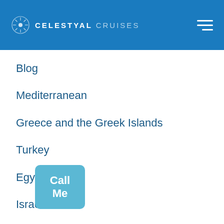CELESTYAL CRUISES
Blog
Mediterranean
Greece and the Greek Islands
Turkey
Egypt
Israel
About Celestyal
About Us
Brands
Contact